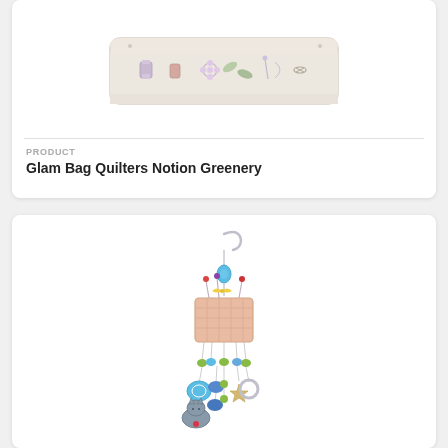[Figure (photo): Product photo of a quilted notions bag with sewing-themed illustration (spools, scissors, flowers)]
PRODUCT
Glam Bag Quilters Notion Greenery
[Figure (photo): Product photo of a decorative charm/ornament featuring a sewing basket with colorful beads, pins, and animal charms hanging below]